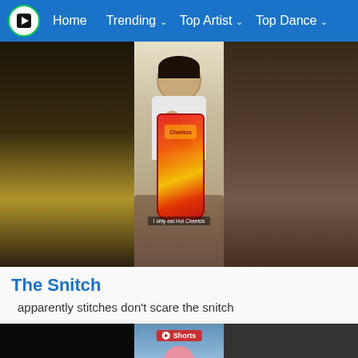Home  Trending  Top Artist  Top Dance
[Figure (screenshot): Man eating Flamin' Hot Cheetos from a large bag, seated on a couch. Three-panel blurred/centered video thumbnail layout. Subtitle text: 'I only eat Hot Cheetos']
The Snitch
apparently stitches don't scare the snitch
[Figure (screenshot): Second video thumbnail showing a woman with pink hair making a gesture, with a red Shorts badge overlay. Three-panel black/colored layout.]